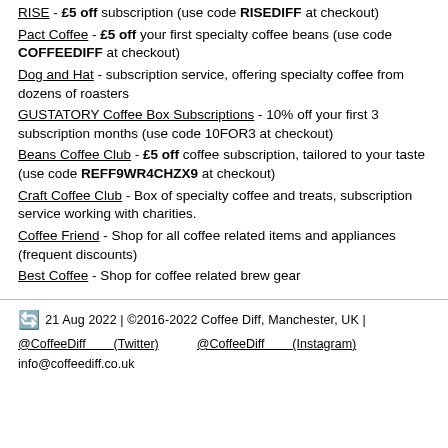RISE - £5 off subscription (use code RISEDIFF at checkout)
Pact Coffee - £5 off your first specialty coffee beans (use code COFFEEDIFF at checkout)
Dog and Hat - subscription service, offering specialty coffee from dozens of roasters
GUSTATORY Coffee Box Subscriptions - 10% off your first 3 subscription months (use code 10FOR3 at checkout)
Beans Coffee Club - £5 off coffee subscription, tailored to your taste (use code REFF9WR4CHZX9 at checkout)
Craft Coffee Club - Box of specialty coffee and treats, subscription service working with charities.
Coffee Friend - Shop for all coffee related items and appliances (frequent discounts)
Best Coffee - Shop for coffee related brew gear
21 Aug 2022 | ©2016-2022 Coffee Diff, Manchester, UK | @CoffeeDiff (Twitter) @CoffeeDiff (Instagram) info@coffeediff.co.uk